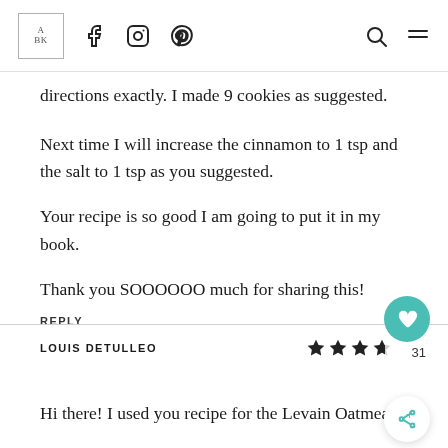A BK | Facebook | Instagram | Pinterest | Search | Menu
directions exactly. I made 9 cookies as suggested.
Next time I will increase the cinnamon to 1 tsp and the salt to 1 tsp as you suggested.
Your recipe is so good I am going to put it in my book.
Thank you SOOOOOO much for sharing this!
REPLY
LOUIS DETULLEO
Hi there! I used you recipe for the Levain Oatmeal